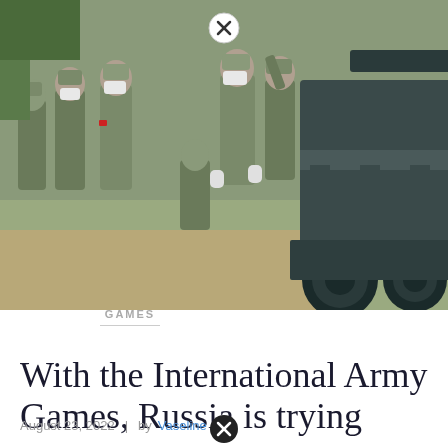[Figure (photo): Soldiers in camouflage uniforms and masks standing near a military tank during International Army Games]
GAMES
With the International Army Games, Russia is trying to…
August 23, 2022 | by Vaseline